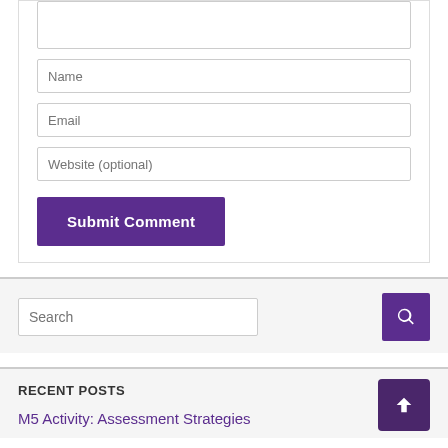[Figure (screenshot): Web form with textarea (partially visible), Name input field, Email input field, Website (optional) input field, and a Submit Comment button in purple]
[Figure (screenshot): Search bar with text 'Search' and a purple search icon button on the right]
RECENT POSTS
M5 Activity: Assessment Strategies